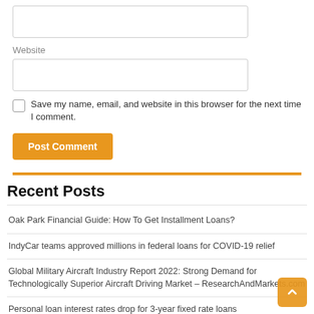Website
Save my name, email, and website in this browser for the next time I comment.
Post Comment
Recent Posts
Oak Park Financial Guide: How To Get Installment Loans?
IndyCar teams approved millions in federal loans for COVID-19 relief
Global Military Aircraft Industry Report 2022: Strong Demand for Technologically Superior Aircraft Driving Market – ResearchAndMarkets.com
Personal loan interest rates drop for 3-year fixed rate loans
It's not just Asians who have suffered from Idi Amin's 'economic war' – Africans